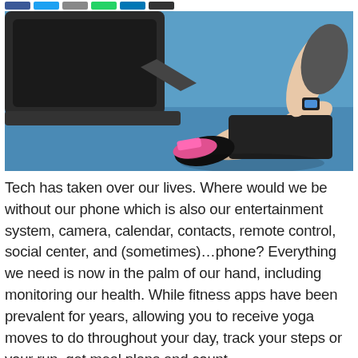[Social share buttons: Facebook, Twitter, Google+, WhatsApp, LinkedIn, More]
[Figure (photo): A person sitting on the gym floor next to a rowing machine, wearing athletic clothing and pink sneakers, checking a fitness smartwatch on their wrist. The gym floor is bright blue.]
Tech has taken over our lives. Where would we be without our phone which is also our entertainment system, camera, calendar, contacts, remote control, social center, and (sometimes)…phone? Everything we need is now in the palm of our hand, including monitoring our health. While fitness apps have been prevalent for years, allowing you to receive yoga moves to do throughout your day, track your steps or your run, get meal plans and count calories/fat/carbs/etc., now technology and software